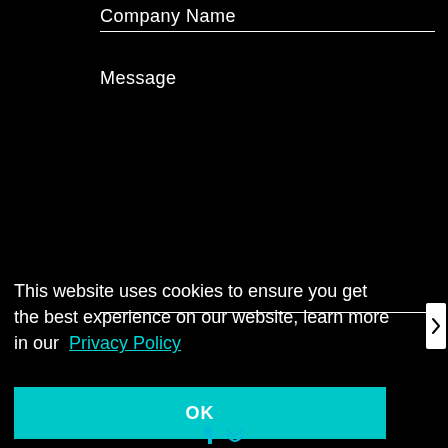Company Name
Message
This website uses cookies to ensure you get the best experience on our website, learn more in our Privacy Policy
OK